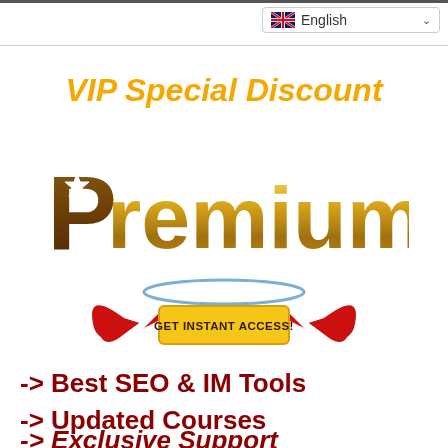English
VIP Special Discount
[Figure (logo): Premium logo with golden gradient text and a small star icon on the letter P]
[Figure (infographic): GET INSTANT ACCESS! button with red devil horns/arrows on either side and a blue arc above]
-> Best SEO & IM Tools
-> Updated Courses
-> Exclusive Support